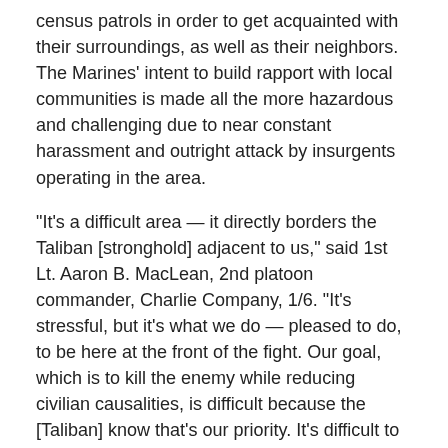census patrols in order to get acquainted with their surroundings, as well as their neighbors. The Marines' intent to build rapport with local communities is made all the more hazardous and challenging due to near constant harassment and outright attack by insurgents operating in the area.
"It's a difficult area — it directly borders the Taliban [stronghold] adjacent to us," said 1st Lt. Aaron B. MacLean, 2nd platoon commander, Charlie Company, 1/6. "It's stressful, but it's what we do — pleased to do, to be here at the front of the fight. Our goal, which is to kill the enemy while reducing civilian causalities, is difficult because the [Taliban] know that's our priority. It's difficult to go out and be manipulated like we are, but we follow the rules."
"A lot of foreign fighters have been moved into our area of operations," said MacLean "As we flooded in, so did they. The Taliban sent in a crack group of insurgents to counter ours. Their preferred method of killing is through the use of improvised explosive devices. Marines are in heavy combat out here and facing the jihadist A-team, but we're defeating them regularly.